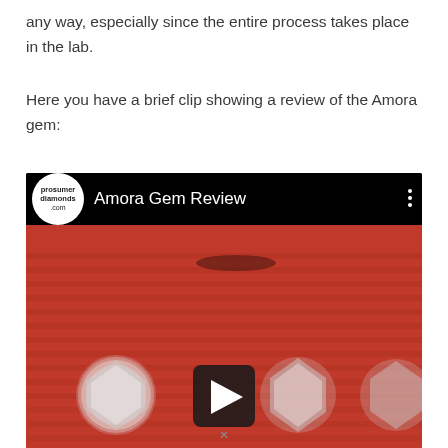any way, especially since the entire process takes place in the lab.
Here you have a brief clip showing a review of the Amora gem:
[Figure (screenshot): YouTube video thumbnail titled 'Amora Gem Review' from the prosumerdiamonds.com channel. Shows diamonds displayed on a red ridged surface, with a play button in the center.]